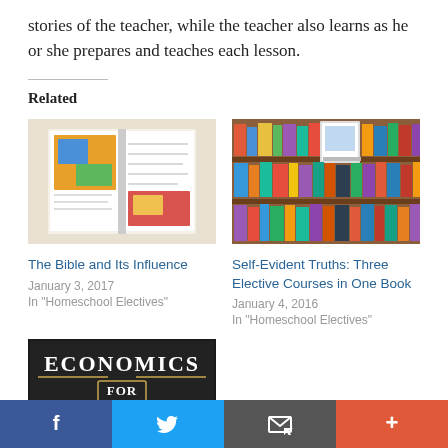stories of the teacher, while the teacher also learns as he or she prepares and teaches each lesson.
Related
[Figure (photo): Open Bible textbook with colorful illustrations]
The Bible and Its Influence
January 3, 2017
In "Homeschool Electives"
[Figure (photo): Bookshelf filled with many colorful books]
Self-Evident Truths: Three Elective Courses in One Book
January 4, 2016
In "Homeschool Electives"
[Figure (photo): Economics book cover with chalkboard style text reading ECONOMICS FOR...]